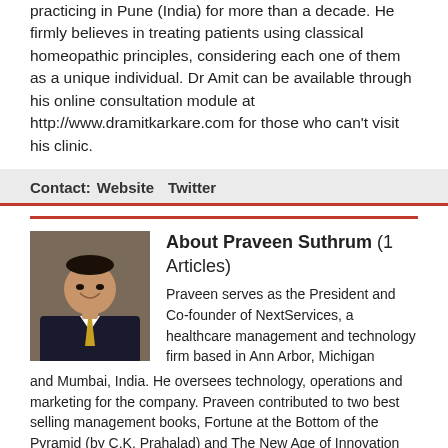practicing in Pune (India) for more than a decade. He firmly believes in treating patients using classical homeopathic principles, considering each one of them as a unique individual. Dr Amit can be available through his online consultation module at http://www.dramitkarkare.com for those who can't visit his clinic.
Contact: Website Twitter
[Figure (photo): Headshot photo of Praveen Suthrum, a man in a dark suit with a yellow tie, smiling]
About Praveen Suthrum (1 Articles)
Praveen serves as the President and Co-founder of NextServices, a healthcare management and technology firm based in Ann Arbor, Michigan and Mumbai, India. He oversees technology, operations and marketing for the company. Praveen contributed to two best selling management books, Fortune at the Bottom of the Pyramid (by C.K. Prahalad) and The New Age of Innovation (by C.K. Prahalad and M.S. Krishnan) that was named one of the best books on innovation by The Economist in 2008. Forbes/ Singularity published Praveen's